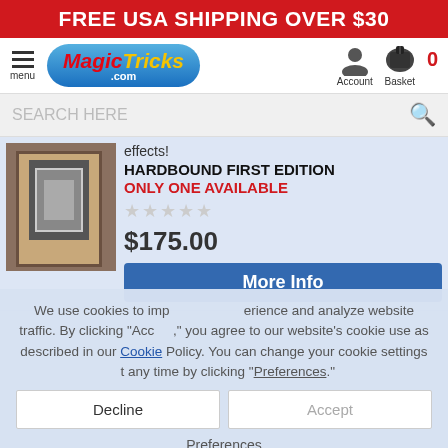FREE USA SHIPPING OVER $30
[Figure (logo): MagicTricks.com logo with account and basket icons]
SEARCH HERE
effects!
HARDBOUND FIRST EDITION
ONLY ONE AVAILABLE
$175.00
More Info
We use cookies to improve your experience and analyze website traffic. By clicking "Accept," you agree to our website's cookie use as described in our Cookie Policy. You can change your cookie settings at any time by clicking "Preferences."
Cardworks – *PREOWNED BOOK*
Incredible card wizardry from some of the top cardicians!
HARDBOUND FIRST EDITION
ONLY ONE AVAILABLE